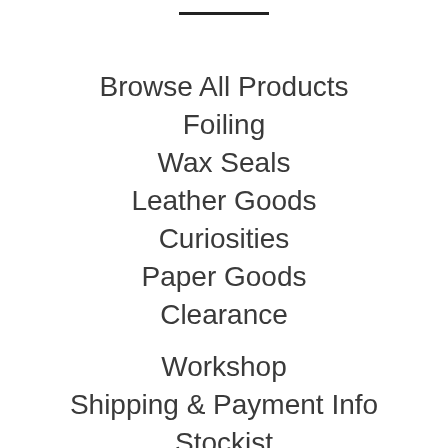Browse All Products
Foiling
Wax Seals
Leather Goods
Curiosities
Paper Goods
Clearance
Workshop
Shipping & Payment Info
Stockist
Blog
About
Contact Us